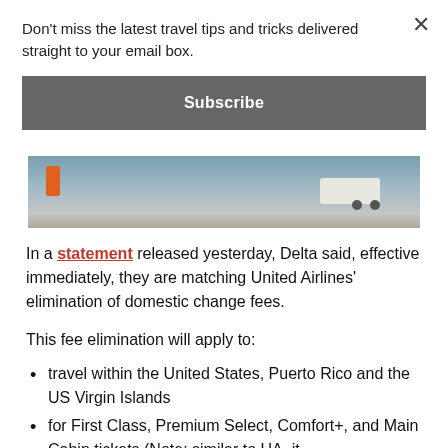Don't miss the latest travel tips and tricks delivered straight to your email box.
Subscribe
[Figure (photo): Airport ground crew scene with orange-vested worker and white ground vehicle on tarmac]
In a statement released yesterday, Delta said, effective immediately, they are matching United Airlines' elimination of domestic change fees.
This fee elimination will apply to:
travel within the United States, Puerto Rico and the US Virgin Islands
for First Class, Premium Select, Comfort+, and Main Cabin tickets (Note: similar to UA, it